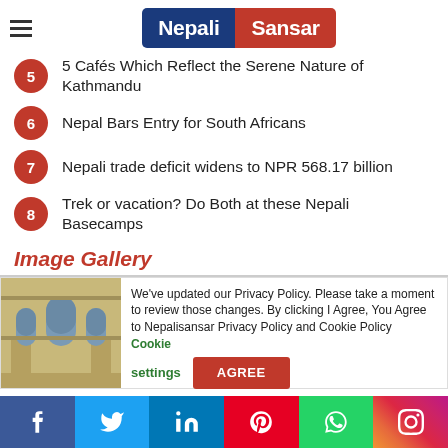[Figure (logo): Nepali Sansar logo with blue and red background]
5 — 5 Cafés Which Reflect the Serene Nature of Kathmandu
6 — Nepal Bars Entry for South Africans
7 — Nepali trade deficit widens to NPR 568.17 billion
8 — Trek or vacation? Do Both at these Nepali Basecamps
Image Gallery
[Figure (photo): Photo of a building facade with arched windows]
We've updated our Privacy Policy. Please take a moment to review those changes. By clicking I Agree, You Agree to Nepalisansar Privacy Policy and Cookie Policy   Cookie settings   AGREE